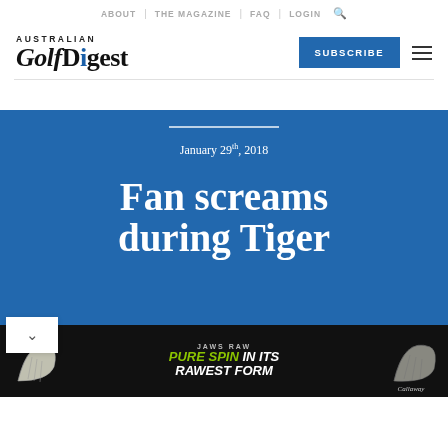ABOUT | THE MAGAZINE | FAQ | LOGIN
[Figure (logo): Australian Golf Digest logo with blue dot on letter i]
SUBSCRIBE
January 29th, 2018

Fan screams during Tiger
[Figure (advertisement): Callaway Jaws Raw wedge advertisement: PURE SPIN IN ITS RAWEST FORM]